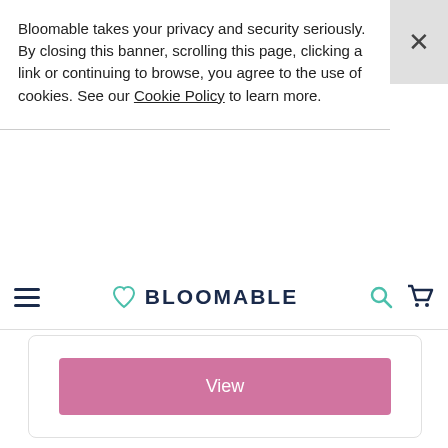Bloomable takes your privacy and security seriously. By closing this banner, scrolling this page, clicking a link or continuing to browse, you agree to the use of cookies. See our Cookie Policy to learn more.
BLOOMABLE
[Figure (illustration): Pink View button inside a white card with border]
LET'S BE FRIENDS
Sign up to hear from us! (Bloomable, Formerly SA Florist)
Email Address  Subscribe
Ts & Cs | Privacy | Sitemap